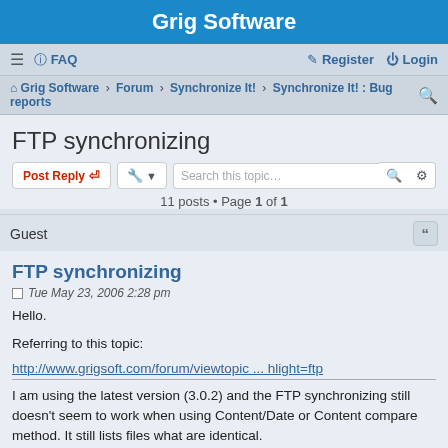Grig Software
≡  FAQ    Register  Login
Grig Software › Forum › Synchronize It! › Synchronize It! : Bug reports
FTP synchronizing
Post Reply   [tools]   Search this topic…   11 posts • Page 1 of 1
Guest
FTP synchronizing
Tue May 23, 2006 2:28 pm
Hello.

Referring to this topic:
http://www.grigsoft.com/forum/viewtopic ... hlight=ftp

I am using the latest version (3.0.2) and the FTP synchronizing still doesn't seem to work when using Content/Date or Content compare method. It still lists files what are identical.